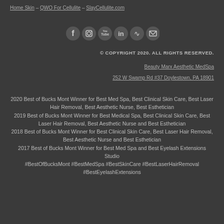Home Skin – QWO For Cellulite – SlayCellulite.com
[Figure (infographic): Social media icons: Facebook, Instagram, YouTube, LinkedIn, RSS, Email]
© COPYRIGHT 2020. ALL RIGHTS RESERVED.
Beauty Marx Aesthetic MedSpa
252 W Swamp Rd #37 Doylestown, PA 18901
2020 Best of Bucks Mont Winner for Best Med Spa, Best Clinical Skin Care, Best Laser Hair Removal, Best Aesthetic Nurse, Best Esthetician
2019 Best of Bucks Mont Winner for Best Medical Spa, Best Clinical Skin Care, Best Laser Hair Removal, Best Aesthetic Nurse and Best Esthetician
2018 Best of Bucks Mont Winner for Best Clinical Skin Care, Best Laser Hair Removal, Best Aesthetic Nurse and Best Esthetician
2017 Best of Bucks Mont Winner for Best Med Spa and Best Eyelash Extensions Studio
#BestOfBucksMont #BestMedSpa #BestSkinCare #BestLaserHairRemoval #BestEyelashExtensions